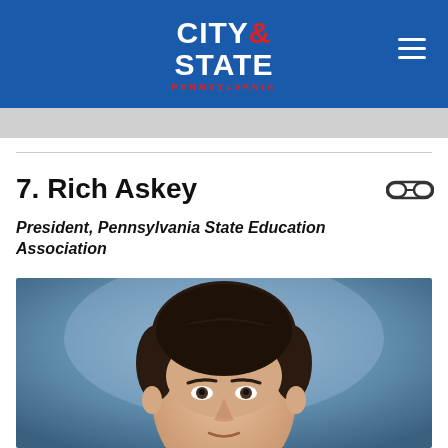CITY & STATE PENNSYLVANIA
7. Rich Askey
President, Pennsylvania State Education Association
[Figure (photo): Headshot photo of Rich Askey, a man with dark hair, wearing a suit, posed against a blue/grey background. Upper portion of face and head visible.]